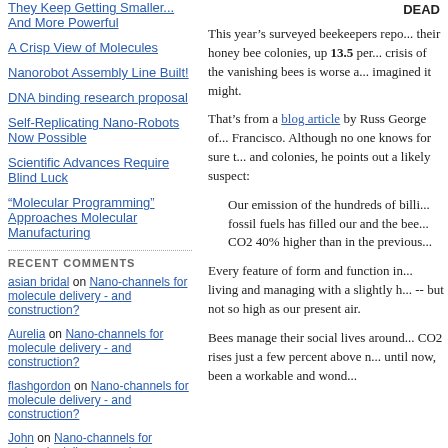They Keep Getting Smaller... And More Powerful
A Crisp View of Molecules
Nanorobot Assembly Line Built!
DNA binding research proposal
Self-Replicating Nano-Robots Now Possible
Scientific Advances Require Blind Luck
"Molecular Programming" Approaches Molecular Manufacturing
RECENT COMMENTS
asian bridal on Nano-channels for molecule delivery - and construction?
Aurelia on Nano-channels for molecule delivery - and construction?
flashgordon on Nano-channels for molecule delivery - and construction?
John on Nano-channels for molecule delivery - and construction?
flashgordon on Exceptionally Stiff
DEAD
This year’s surveyed beekeepers repo... their honey bee colonies, up 13.5 per... crisis of the vanishing bees is worse a... imagined it might.
That’s from a blog article by Russ George of... Francisco. Although no one knows for sure t... and colonies, he points out a likely suspect:
Our emission of the hundreds of billi... fossil fuels has filled our and the bee... CO2 40% higher than in the previous...
Every feature of form and function in... living and managing with a slightly h... -- but not so high as our present air.
Bees manage their social lives around... CO2 rises just a few percent above n... until now, been a workable and wond...